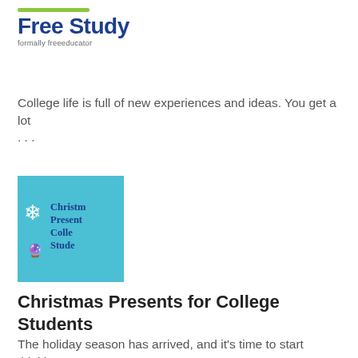[Figure (logo): Free Study logo with green bar above blue bold text and subtitle 'formally freeeducator']
College life is full of new experiences and ideas. You get a lot
...
[Figure (illustration): Teal/blue square thumbnail with snowflake icon and text: Christm Presente Colle Stude (Christmas Presents for College Students)]
Christmas Presents for College Students
The holiday season has arrived, and it's time to start thinking
...